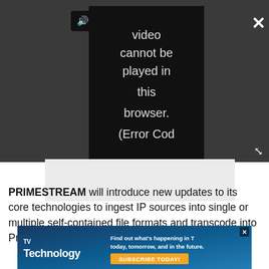[Figure (screenshot): Dark gray video player bar with a sound/play button labeled 'PLAY SOUND', a black video error box reading 'video cannot be played in this browser. (Error Cod', a white X close button in top-right, and expand arrows icon in middle-right. Below the dark bar is a light gray content area.]
PRIMESTREAM will introduce new updates to its core technologies to ingest IP sources into single or multiple self-contained file formats and transcode into ProRes, XDCAM, DNxHD, AVC-Intra and H.264,
[Figure (screenshot): TVTechnology advertisement banner with logo and tagline 'Find out what's happening in TV today, tomorrow, and in the future.' with orange SUBSCRIBE TODAY! button.]